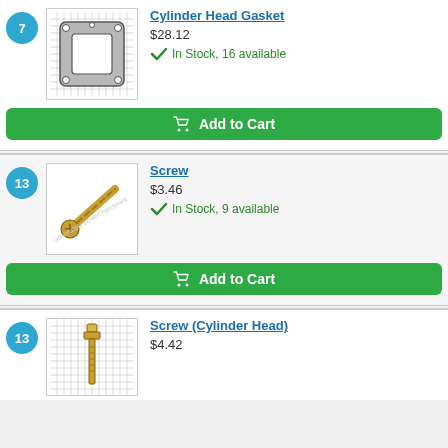7
[Figure (photo): Cylinder head gasket part image on grid background]
Cylinder Head Gasket
$28.12
In Stock, 16 available
Add to Cart
13
[Figure (photo): Gold screw part image on white background]
Screw
$3.46
In Stock, 9 available
Add to Cart
13
[Figure (photo): Screw cylinder head part on grid background]
Screw (Cylinder Head)
$4.42